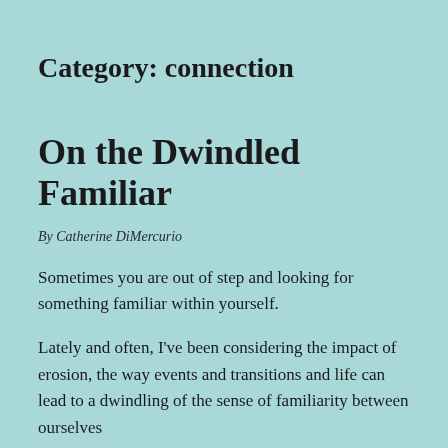Category: connection
On the Dwindled Familiar
By Catherine DiMercurio
Sometimes you are out of step and looking for something familiar within yourself.
Lately and often, I've been considering the impact of erosion, the way events and transitions and life can lead to a dwindling of the sense of familiarity between ourselves